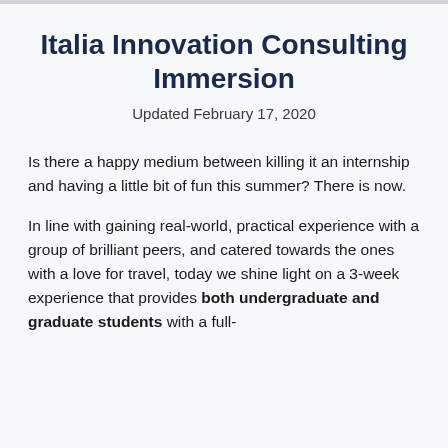Italia Innovation Consulting Immersion
Updated February 17, 2020
Is there a happy medium between killing it an internship and having a little bit of fun this summer? There is now.
In line with gaining real-world, practical experience with a group of brilliant peers, and catered towards the ones with a love for travel, today we shine light on a 3-week experience that provides both undergraduate and graduate students with a full-